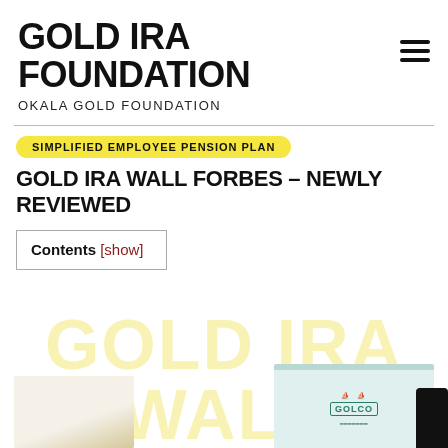GOLD IRA FOUNDATION
OKALA GOLD FOUNDATION
SIMPLIFIED EMPLOYEE PENSION PLAN
GOLD IRA WALL FORBES – NEWLY REVIEWED
Contents [show]
[Figure (illustration): Large watermark text reading GOLD IRA WALL FORBES in pale yellow overlaid on the page background]
[Figure (photo): Partial product/book image at bottom left and a Golco branded box/package at bottom right with a dark phone device overlay]